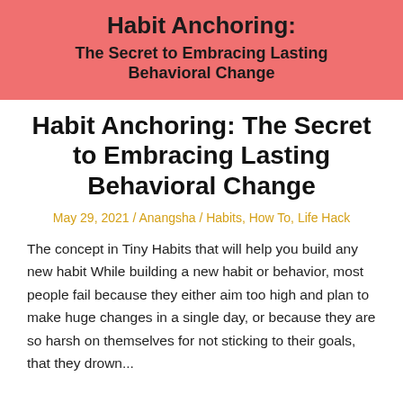[Figure (illustration): Red/salmon colored banner with bold title text: 'Habit Anchoring: The Secret to Embracing Lasting Behavioral Change']
Habit Anchoring: The Secret to Embracing Lasting Behavioral Change
May 29, 2021 / Anangsha / Habits, How To, Life Hack
The concept in Tiny Habits that will help you build any new habit While building a new habit or behavior, most people fail because they either aim too high and plan to make huge changes in a single day, or because they are so harsh on themselves for not sticking to their goals, that they drown...